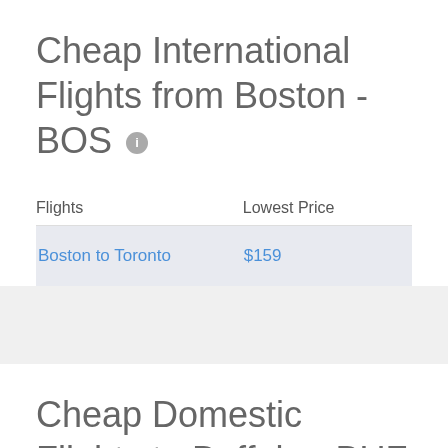Cheap International Flights from Boston - BOS
| Flights | Lowest Price |
| --- | --- |
| Boston to Toronto | $159 |
Cheap Domestic Flights to Buffalo - BUF